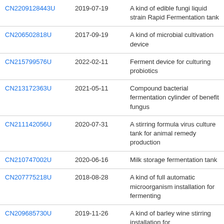| CN2209128443U | 2019-07-19 | A kind of edible fungi liquid strain Rapid Fermentation tank |
| CN206502818U | 2017-09-19 | A kind of microbial cultivation device |
| CN215799576U | 2022-02-11 | Ferment device for culturing probiotics |
| CN213172363U | 2021-05-11 | Compound bacterial fermentation cylinder of benefit fungus |
| CN211142056U | 2020-07-31 | A stirring formula virus culture tank for animal remedy production |
| CN210747002U | 2020-06-16 | Milk storage fermentation tank |
| CN207775218U | 2018-08-28 | A kind of full automatic microorganism installation for fermenting |
| CN209685730U | 2019-11-26 | A kind of barley wine stirring installation for |